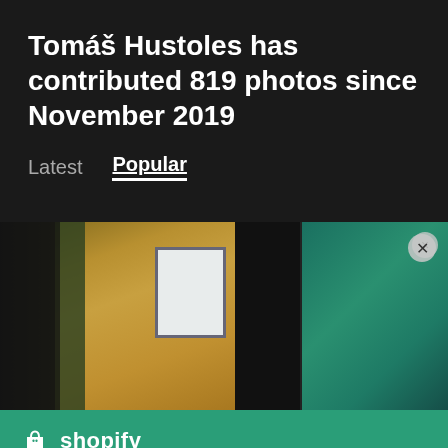Tomáš Hustoles has contributed 819 photos since November 2019
Latest   Popular
[Figure (photo): Two side-by-side photos: left showing an interior workshop/studio room with yellow walls, equipment, and a window; right showing a teal/green background with partial figure]
[Figure (logo): Shopify logo with shopping bag icon and 'shopify' wordmark in white on teal background]
Need an online store for your business?
Start free trial